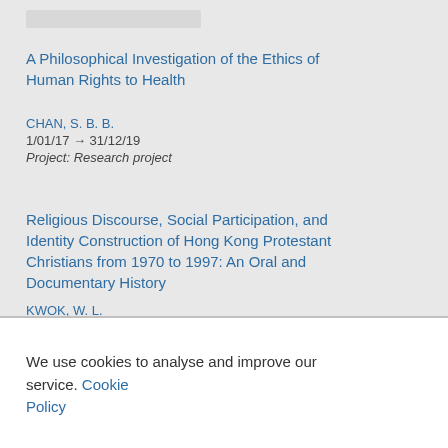A Philosophical Investigation of the Ethics of Human Rights to Health
CHAN, S. B. B.
1/01/17 → 31/12/19
Project: Research project
Religious Discourse, Social Participation, and Identity Construction of Hong Kong Protestant Christians from 1970 to 1997: An Oral and Documentary History
KWOK, W. L.
1/01/17 → 30/06/20
Project: Research project
We use cookies to analyse and improve our service. Cookie Policy